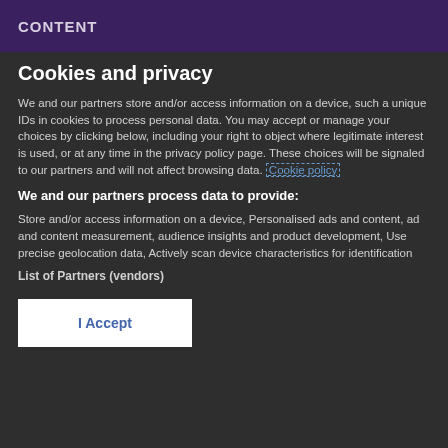CONTENT
Cookies and privacy
We and our partners store and/or access information on a device, such a unique IDs in cookies to process personal data. You may accept or manage your choices by clicking below, including your right to object where legitimate interest is used, or at any time in the privacy policy page. These choices will be signaled to our partners and will not affect browsing data. Cookie policy
We and our partners process data to provide:
Store and/or access information on a device, Personalised ads and content, ad and content measurement, audience insights and product development, Use precise geolocation data, Actively scan device characteristics for identification
List of Partners (vendors)